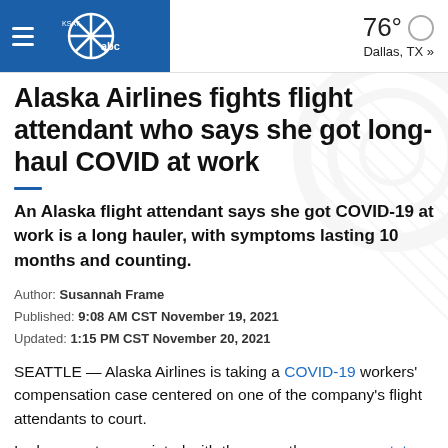KSAT ABC — 76° Dallas, TX »
Alaska Airlines fights flight attendant who says she got long-haul COVID at work
An Alaska flight attendant says she got COVID-19 at work is a long hauler, with symptoms lasting 10 months and counting.
Author: Susannah Frame
Published: 9:08 AM CST November 19, 2021
Updated: 1:15 PM CST November 20, 2021
SEATTLE — Alaska Airlines is taking a COVID-19 workers' compensation case centered on one of the company's flight attendants to court.
In documents associated with the case, the company states